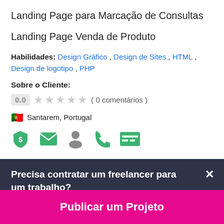Landing Page para Marcação de Consultas
Landing Page Venda de Produto
Habilidades: Design Gráfico, Design de Sites, HTML, Design de logotipo, PHP
Sobre o Cliente:
0.0 ★★★★★ ( 0 comentários )
🇵🇹 Santarem, Portugal
[Figure (infographic): Row of five green icons: shield with dollar sign, envelope, person silhouette, phone handset, credit card/table]
Precisa contratar um freelancer para um trabalho?
Publicar um Projeto